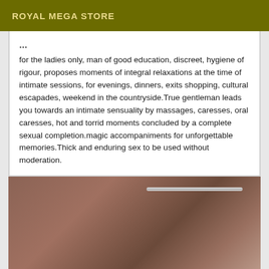ROYAL MEGA STORE
for the ladies only, man of good education, discreet, hygiene of rigour, proposes moments of integral relaxations at the time of intimate sessions, for evenings, dinners, exits shopping, cultural escapades, weekend in the countryside.True gentleman leads you towards an intimate sensuality by massages, caresses, oral caresses, hot and torrid moments concluded by a complete sexual completion.magic accompaniments for unforgettable memories.Thick and enduring sex to be used without moderation.
[Figure (photo): Close-up photo of brown/chocolate colored draped fabric with a metallic rod visible in the upper right corner]